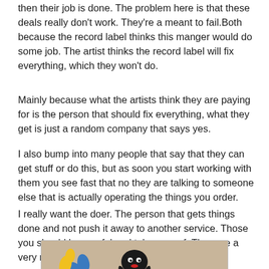then their job is done. The problem here is that these deals really don't work. They're a meant to fail.Both because the record label thinks this manger would do some job. The artist thinks the record label will fix everything, which they won't do.
Mainly because what the artists think they are paying for is the person that should fix everything, what they get is just a random company that says yes.
I also bump into many people that say that they can get stuff or do this, but as soon you start working with them you see fast that no they are talking to someone else that is actually operating the things you order.
I really want the doer. The person that gets things done and not push it away to another service. Those you should be careful and take care of. They are a very rare to find.
[Figure (photo): Balloon animal figures on a table, including what appears to be a black octopus or spider balloon sculpture and a blue and yellow balloon figure.]